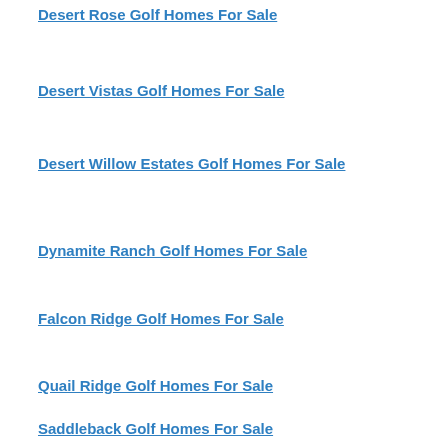Desert Rose Golf Homes For Sale
Desert Vistas Golf Homes For Sale
Desert Willow Estates Golf Homes For Sale
Dynamite Ranch Golf Homes For Sale
Falcon Ridge Golf Homes For Sale
Quail Ridge Golf Homes For Sale
Saddleback Golf Homes For Sale